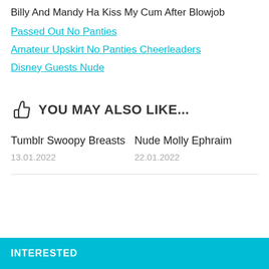Billy And Mandy Ha Kiss My Cum After Blowjob
Passed Out No Panties
Amateur Upskirt No Panties Cheerleaders
Disney Guests Nude
YOU MAY ALSO LIKE...
Tumblr Swoopy Breasts
13.01.2022
Nude Molly Ephraim
22.01.2022
INTERESTED